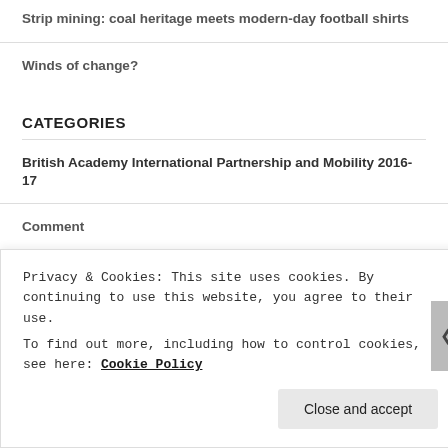Strip mining: coal heritage meets modern-day football shirts
Winds of change?
CATEGORIES
British Academy International Partnership and Mobility 2016-17
Comment
COP26
ESRC-AHRC SSH Connections
Privacy & Cookies: This site uses cookies. By continuing to use this website, you agree to their use.
To find out more, including how to control cookies, see here: Cookie Policy
Close and accept